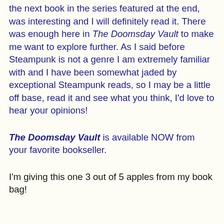the next book in the series featured at the end, was interesting and I will definitely read it. There was enough here in The Doomsday Vault to make me want to explore further. As I said before Steampunk is not a genre I am extremely familiar with and I have been somewhat jaded by exceptional Steampunk reads, so I may be a little off base, read it and see what you think, I'd love to hear your opinions!
The Doomsday Vault is available NOW from your favorite bookseller.
I'm giving this one 3 out of 5 apples from my book bag!